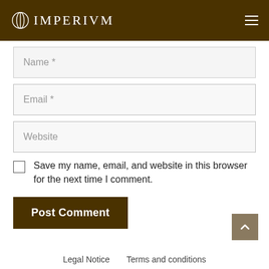IMPERIUM
Name *
Email *
Website
Save my name, email, and website in this browser for the next time I comment.
Post Comment
Legal Notice   Terms and conditions